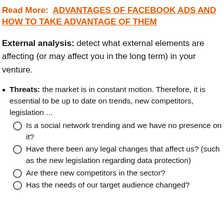Read More: ADVANTAGES OF FACEBOOK ADS AND HOW TO TAKE ADVANTAGE OF THEM
External analysis: detect what external elements are affecting (or may affect you in the long term) in your venture.
Threats: the market is in constant motion. Therefore, it is essential to be up to date on trends, new competitors, legislation ...
Is a social network trending and we have no presence on it?
Have there been any legal changes that affect us? (such as the new legislation regarding data protection)
Are there new competitors in the sector?
Has the needs of our target audience changed?